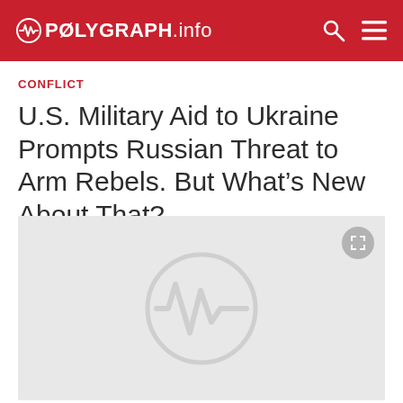POLYGRAPH.info
CONFLICT
U.S. Military Aid to Ukraine Prompts Russian Threat to Arm Rebels. But What’s New About That?
August 05, 2020
[Figure (photo): Image placeholder with Polygraph.info logo watermark on a light gray background]